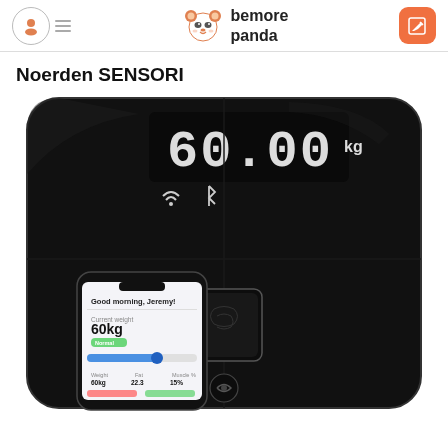bemore panda
Noerden SENSORI
[Figure (photo): Product photo of Noerden SENSORI smart scale - a black glass scale with LED display showing 60.00 kg, WiFi and Bluetooth icons, a smartphone showing the companion app with health data, and a fingerprint sensor pad in the center.]